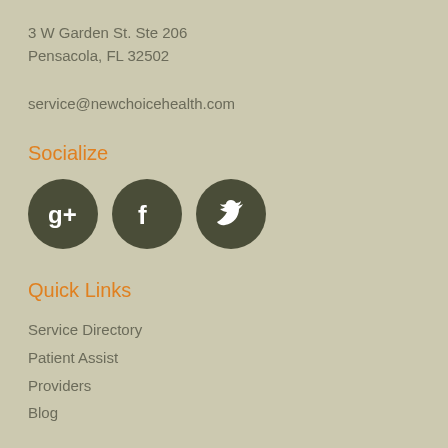3 W Garden St. Ste 206
Pensacola, FL 32502
service@newchoicehealth.com
Socialize
[Figure (illustration): Three dark olive circular social media icons: Google+, Facebook, and Twitter]
Quick Links
Service Directory
Patient Assist
Providers
Blog